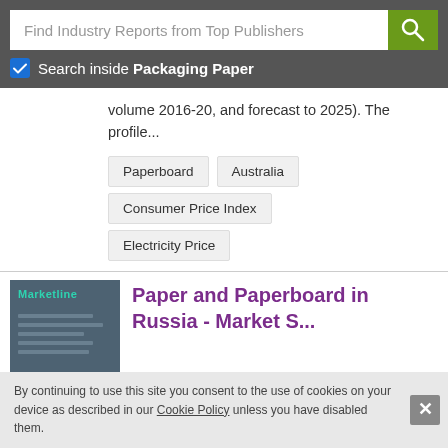Find Industry Reports from Top Publishers
Search inside Packaging Paper
volume 2016-20, and forecast to 2025). The profile...
Paperboard
Australia
Consumer Price Index
Electricity Price
[Figure (illustration): Marketline report cover — grey background with teal Marketline logo, grey lines representing text, and teal accent bar at bottom]
Paper and Paperboard in Russia - Market S...
By continuing to use this site you consent to the use of cookies on your device as described in our Cookie Policy unless you have disabled them.